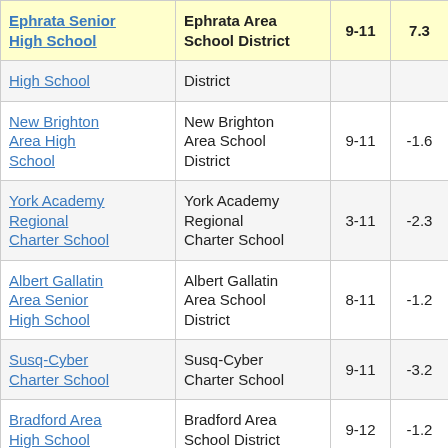| School | District | Grades | Score |  |
| --- | --- | --- | --- | --- |
| Ephrata Senior High School | Ephrata Area School District | 9-11 | 7.3 |  |
| High School | District |  |  |  |
| New Brighton Area High School | New Brighton Area School District | 9-11 | -1.6 |  |
| York Academy Regional Charter School | York Academy Regional Charter School | 3-11 | -2.3 |  |
| Albert Gallatin Area Senior High School | Albert Gallatin Area School District | 8-11 | -1.2 |  |
| Susq-Cyber Charter School | Susq-Cyber Charter School | 9-11 | -3.2 |  |
| Bradford Area High School | Bradford Area School District | 9-12 | -1.2 |  |
| Northern Bedford County | Northern Bedford County School | 9-11 | -1.8 |  |